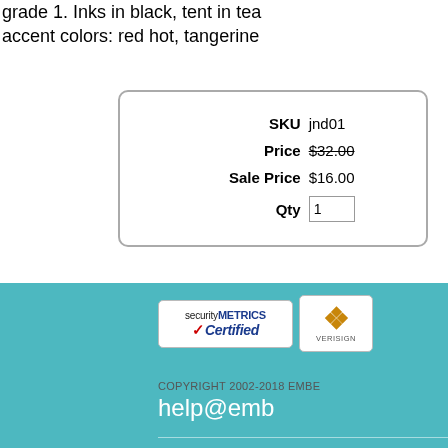grade 1. Inks in black, tent in tea accent colors: red hot, tangerine
| SKU | jnd01 |
| Price | $32.00 (strikethrough) |
| Sale Price | $16.00 |
| Qty | 1 |
Email orders@embellishor...
[Figure (logo): SecurityMetrics Certified badge and VeriSign badge in white box on teal footer]
COPYRIGHT 2002-2018 EMBE... help@emb...